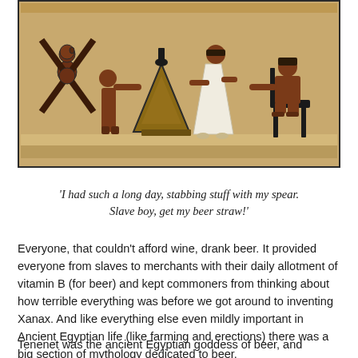[Figure (illustration): Ancient Egyptian wall painting/relief showing figures in profile. Left side shows two dark figures in a crossing/kneeling pose near what appears to be a triangular vessel or stool. Center shows a white-robed figure standing. Right shows a dark-red seated figure on a chair/throne. Background is sandy/ochre yellow with a thick black border frame. Style consistent with ancient Egyptian tomb paintings.]
'I had such a long day, stabbing stuff with my spear. Slave boy, get my beer straw!'
Everyone, that couldn't afford wine, drank beer. It provided everyone from slaves to merchants with their daily allotment of vitamin B (for beer) and kept commoners from thinking about how terrible everything was before we got around to inventing Xanax. And like everything else even mildly important in Ancient Egyptian life (like farming and erections) there was a big section of mythology dedicated to beer.
Tenenet was the ancient Egyptian goddess of beer, and